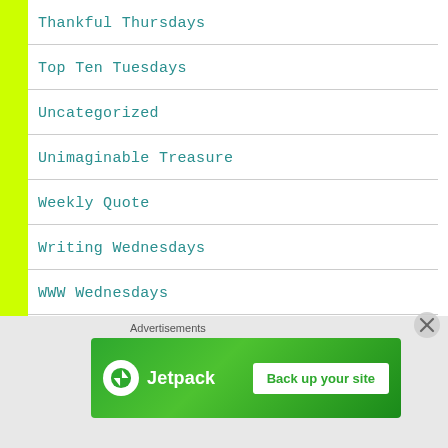Thankful Thursdays
Top Ten Tuesdays
Uncategorized
Unimaginable Treasure
Weekly Quote
Writing Wednesdays
WWW Wednesdays
[Figure (other): Jetpack advertisement banner with 'Back up your site' button and close (X) button]
Advertisements